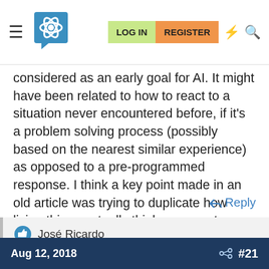LOG IN | REGISTER
considered as an early goal for AI. It might have been related to how to react to a situation never encountered before, if it's a problem solving process (possibly based on the nearest similar experience) as opposed to a pre-programmed response. I think a key point made in an old article was trying to duplicate how living things actually think, or ways to emulate that process.
Reply
José Ricardo
Aug 12, 2018  #21